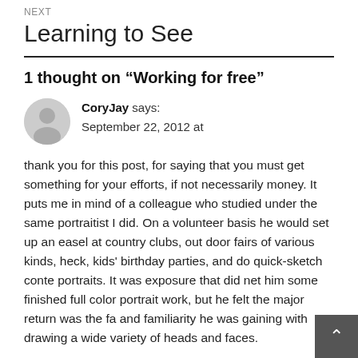NEXT
Learning to See
1 thought on “Working for free”
CoryJay says:
September 22, 2012 at
thank you for this post, for saying that you must get something for your efforts, if not necessarily money. It puts me in mind of a colleague who studied under the same portraitist I did. On a volunteer basis he would set up an easel at country clubs, out door fairs of various kinds, heck, kids' birthday parties, and do quick-sketch conte portraits. It was exposure that did net him some finished full color portrait work, but he felt the major return was the fa and familiarity he was gaining with drawing a wide variety of heads and faces.